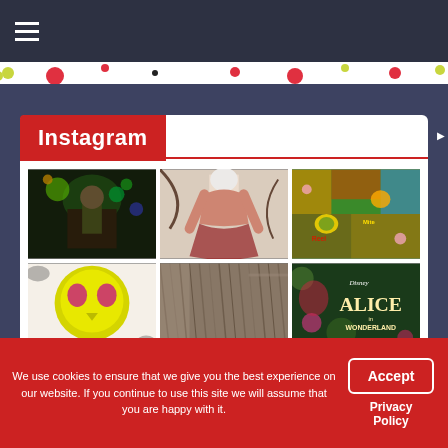Navigation menu bar with hamburger icon
[Figure (screenshot): Website screenshot showing Instagram photo grid section with 6 photos: theatrical performer with green lighting, a red dress costume on mannequin, colorful patterned fabric, a skull-shaped yellow item, fuzzy brown textured item, and Alice in Wonderland Disney graphic]
Instagram
We use cookies to ensure that we give you the best experience on our website. If you continue to use this site we will assume that you are happy with it.
Accept
Privacy Policy